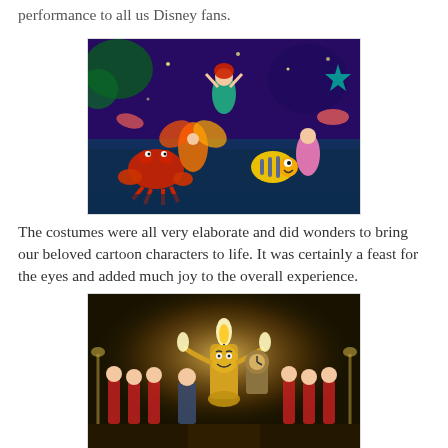performance to all us Disney fans.
[Figure (photo): Colorful Disney on Ice performance showing Little Mermaid characters including Ariel, Sebastian the crab, Flounder, and other sea creatures in elaborate costumes on stage with purple and blue lighting]
The costumes were all very elaborate and did wonders to bring our beloved cartoon characters to life. It was certainly a feast for the eyes and added much joy to the overall experience.
[Figure (photo): Disney on Ice Beauty and the Beast performance showing Lumiere the candelabra and other characters in elaborate costumes on a dark stage with warm golden lighting]